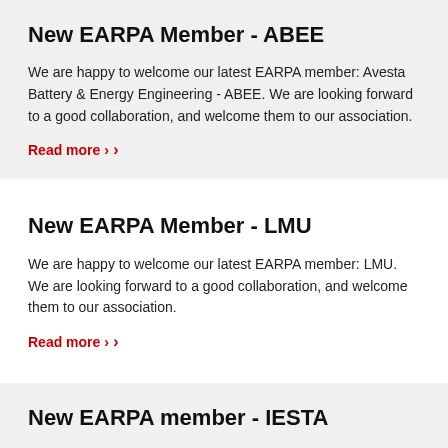New EARPA Member - ABEE
We are happy to welcome our latest EARPA member: Avesta Battery & Energy Engineering - ABEE. We are looking forward to a good collaboration, and welcome them to our association.
Read more ›
New EARPA Member - LMU
We are happy to welcome our latest EARPA member: LMU. We are looking forward to a good collaboration, and welcome them to our association.
Read more ›
New EARPA member - IESTA
We are happy to welcome our latest EARPA member: IESTA. We are looking forward to a good collaboration, and welcome them to our